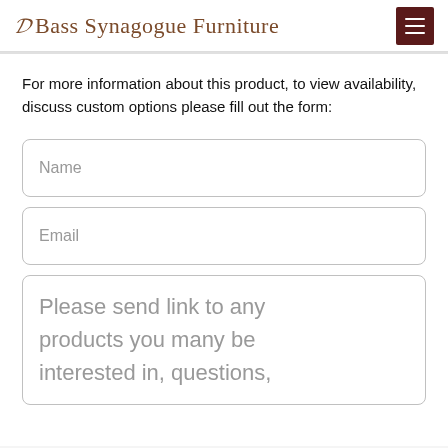Bass Synagogue Furniture
For more information about this product, to view availability, discuss custom options please fill out the form:
Name
Email
Please send link to any products you many be interested in, questions,